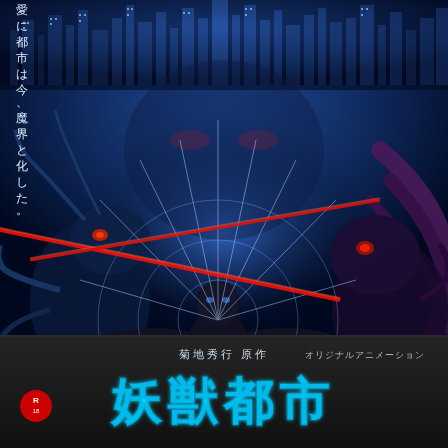[Figure (illustration): Japanese anime movie poster featuring a dark blue cyberpunk cityscape at top, a central male figure in a black suit surrounded by web-like energy beams and red laser lines, flanked by monstrous creatures with tentacles and claws on both sides. The background is deep blue with glowing light effects.]
愛に都市は今、魔界と化した。
菊地秀行 原作 オリジナルアニメーション
妖獣都市